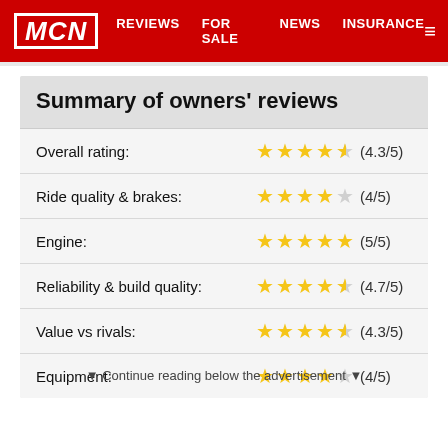MCN | REVIEWS | FOR SALE | NEWS | INSURANCE
Summary of owners' reviews
| Category | Stars | Score |
| --- | --- | --- |
| Overall rating: | ★★★★½ | (4.3/5) |
| Ride quality & brakes: | ★★★★☆ | (4/5) |
| Engine: | ★★★★★ | (5/5) |
| Reliability & build quality: | ★★★★½ | (4.7/5) |
| Value vs rivals: | ★★★★½ | (4.3/5) |
| Equipment: | ★★★★☆ | (4/5) |
▼ Continue reading below the advertisement ▼